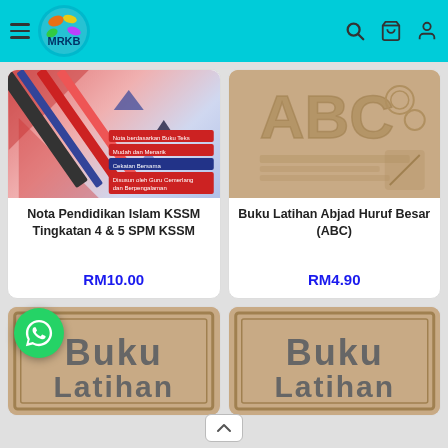[Figure (screenshot): MRKB online bookstore header with hamburger menu, MRKB logo, search icon, cart icon, and user icon on cyan background]
[Figure (photo): Product card: Nota Pendidikan Islam KSSM Tingkatan 4 & 5 SPM KSSM - book cover with pencils and red/blue feature badges]
Nota Pendidikan Islam KSSM Tingkatan 4 & 5 SPM KSSM
RM10.00
[Figure (photo): Product card: Buku Latihan Abjad Huruf Besar (ABC) - book cover with ABC letters and learning tools]
Buku Latihan Abjad Huruf Besar (ABC)
RM4.90
[Figure (photo): Partially visible product card showing Buku Latihan book with WhatsApp button overlay]
[Figure (photo): Partially visible product card showing Buku Latihan book cover]